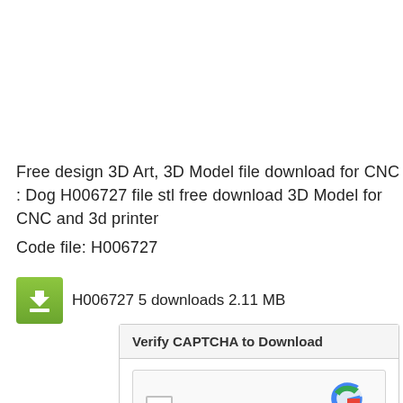Free design 3D Art, 3D Model file download for CNC : Dog H006727 file stl free download 3D Model for CNC and 3d printer
Code file: H006727
[Figure (infographic): Green download button icon with downward arrow, followed by text 'H006727 5 downloads 2.11 MB']
H006727 5 downloads 2.11 MB
[Figure (screenshot): CAPTCHA verification dialog box with header 'Verify CAPTCHA to Download' and reCAPTCHA widget showing checkbox, 'I'm not a robot' text, and reCAPTCHA logo with Privacy and Terms links]